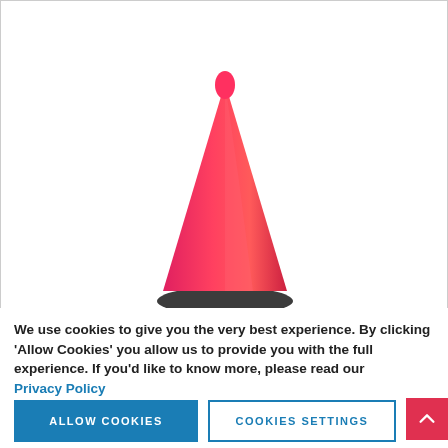[Figure (photo): A red/orange traffic cone on a white background, centered in the upper portion of the page. The cone has a black base.]
We use cookies to give you the very best experience. By clicking 'Allow Cookies' you allow us to provide you with the full experience. If you'd like to know more, please read our Privacy Policy
ALLOW COOKIES
COOKIES SETTINGS